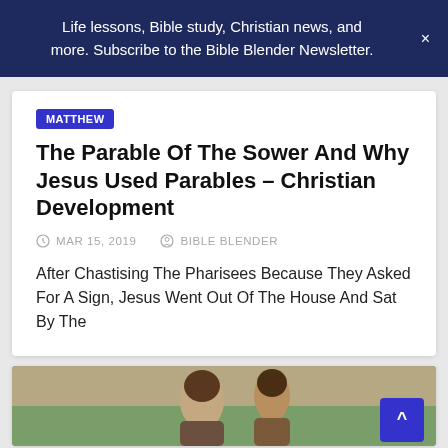Life lessons, Bible study, Christian news, and more. Subscribe to the Bible Blender Newsletter.
MATTHEW
The Parable Of The Sower And Why Jesus Used Parables – Christian Development
MAR 15, 2019   BIBLE BLENDER
After Chastising The Pharisees Because They Asked For A Sign, Jesus Went Out Of The House And Sat By The
[Figure (photo): Partial painting/illustration of two people, likely a biblical scene, partially visible at bottom of page]